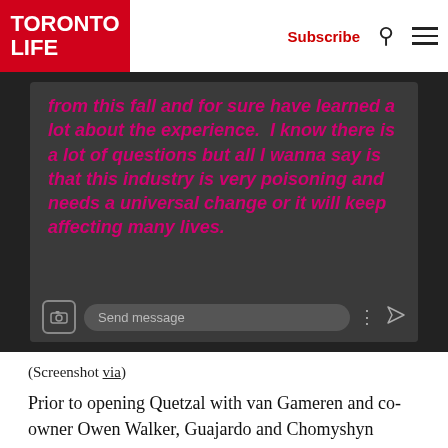TORONTO LIFE | Subscribe
[Figure (screenshot): Screenshot of an Instagram story with pink bold italic text reading: 'from this fall and for sure have learned a lot about the experience. I know there is a lot of questions but all I wanna say is that this industry is very poisoning and needs a universal change or it will keep affecting many lives.' Message bar at bottom shows Send message input.]
(Screenshot via)
Prior to opening Quetzal with van Gameren and co-owner Owen Walker, Guajardo and Chomyshyn collaborated with van Gameren at El Rey, the Mexican restaurant and mescal bar in Kensington Market, and Rosalinda, a vegan Mexican restaurant in the Financial